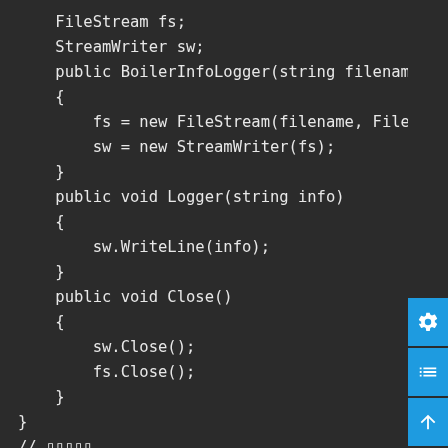[Figure (screenshot): Code editor screenshot showing C# class code with FileStream and StreamWriter fields, constructor, Logger method, Close method, and beginning of RecordBoilerInfo class, on dark background with blue sidebar buttons]